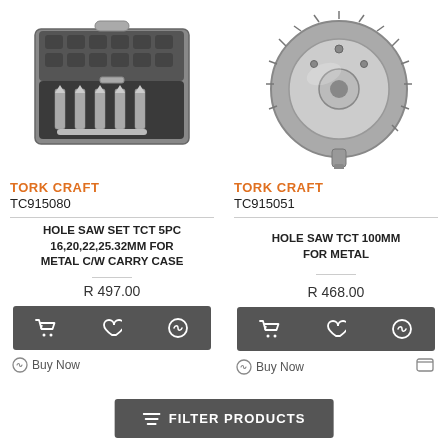[Figure (photo): Tork Craft TC915080 hole saw set in a carry case with 5 pieces]
[Figure (photo): Tork Craft TC915051 single hole saw TCT 100mm for metal]
TORK CRAFT
TC915080
HOLE SAW SET TCT 5PC 16,20,22,25.32MM FOR METAL C/W CARRY CASE
R 497.00
TORK CRAFT
TC915051
HOLE SAW TCT 100MM FOR METAL
R 468.00
Buy Now
Buy Now
FILTER PRODUCTS